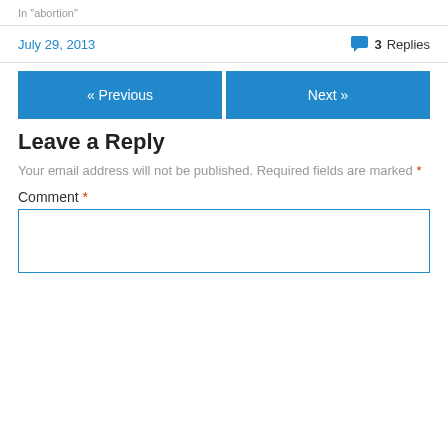In "abortion"
July 29, 2013
3 Replies
« Previous
Next »
Leave a Reply
Your email address will not be published. Required fields are marked *
Comment *